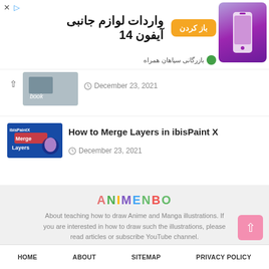[Figure (screenshot): Advertisement banner for iPhone 14 accessories import with orange button labeled 'باز کردن', text '14 واردات لوازم جانبی آیفون', a purple iPhone 14 image, and merchant name 'بازرگانی سپاهان همراه']
[Figure (photo): Thumbnail image for an article, partially visible at top of list]
December 23, 2021
[Figure (photo): Thumbnail for 'How to Merge Layers in ibisPaint X' showing anime illustration with ibisPaint X and Merge Layers text]
How to Merge Layers in ibisPaint X
December 23, 2021
[Figure (logo): ANIMENBO logo in multicolor letters]
About teaching how to draw Anime and Manga illustrations. If you are interested in how to draw such the illustrations, please read articles or subscribe YouTube channel.
[Figure (infographic): Social media icons row: Facebook, Instagram, Pinterest, YouTube, Email]
HOME   ABOUT   SITEMAP   PRIVACY POLICY